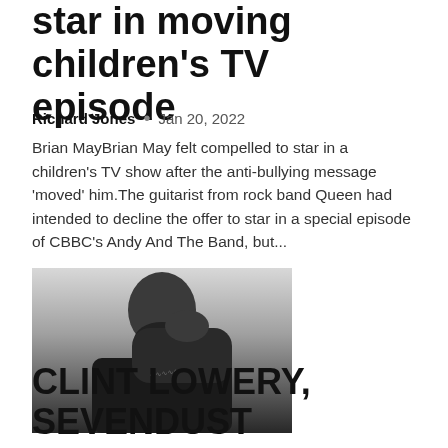star in moving children's TV episode
Richard Jones • Jan 20, 2022
Brian MayBrian May felt compelled to star in a children's TV show after the anti-bullying message 'moved' him.The guitarist from rock band Queen had intended to decline the offer to star in a special episode of CBBC's Andy And The Band, but...
[Figure (photo): Black and white portrait photo of a bearded man with tattoos on his arm, resting his head on his hand]
CLINT LOWERY, SEVENDUST guitarist – "I've written enough